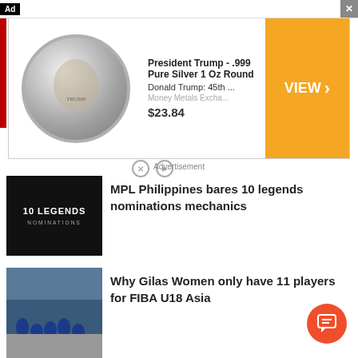[Figure (screenshot): Advertisement banner showing a Trump silver coin product. Left side has 'Ad' label, right side has close X button. Banner contains coin image, product title 'President Trump - .999 Pure Silver 1 Oz Round', subtitle 'Donald Trump: 45th ...', source 'Money Metals Excha...', price '$23.84', orange VIEW button with arrow. Below banner has X and play icons, and 'Advertisement' notice text.]
Advertisement
[Figure (photo): Thumbnail image with dark background showing text '10 LEGENDS NOMINATIONS']
MPL Philippines bares 10 legends nominations mechanics
[Figure (photo): Thumbnail photo of Gilas Women basketball team in blue uniforms posing together in a gymnasium]
Why Gilas Women only have 11 players for FIBA U18 Asia
[Figure (photo): Partial thumbnail at bottom of page, cut off]